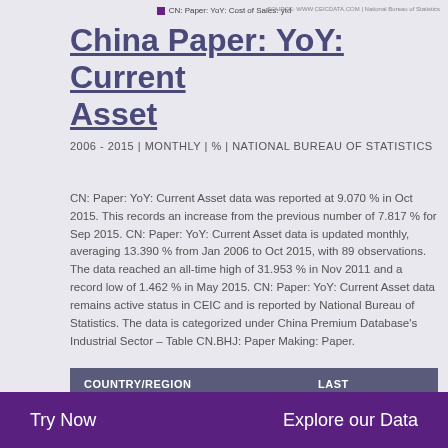CN: Paper: YoY: Cost of Sales: ytd
China Paper: YoY: Current Asset
2006 - 2015 | MONTHLY | % | NATIONAL BUREAU OF STATISTICS
CN: Paper: YoY: Current Asset data was reported at 9.070 % in Oct 2015. This records an increase from the previous number of 7.817 % for Sep 2015. CN: Paper: YoY: Current Asset data is updated monthly, averaging 13.390 % from Jan 2006 to Oct 2015, with 89 observations. The data reached an all-time high of 31.953 % in Nov 2011 and a record low of 1.462 % in May 2015. CN: Paper: YoY: Current Asset data remains active status in CEIC and is reported by National Bureau of Statistics. The data is categorized under China Premium Database's Industrial Sector – Table CN.BHJ: Paper Making: Paper.
| COUNTRY/REGION | LAST |
| --- | --- |
Try Now
Explore our Data